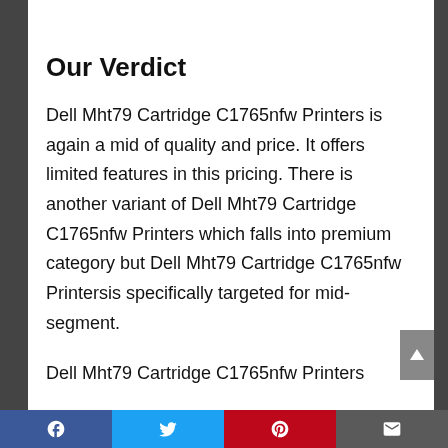Our Verdict
Dell Mht79 Cartridge C1765nfw Printers is again a mid of quality and price. It offers limited features in this pricing. There is another variant of Dell Mht79 Cartridge C1765nfw Printers which falls into premium category but Dell Mht79 Cartridge C1765nfw Printersis specifically targeted for mid-segment.
Dell Mht79 Cartridge C1765nfw Printers
Facebook  Twitter  Pinterest  Email